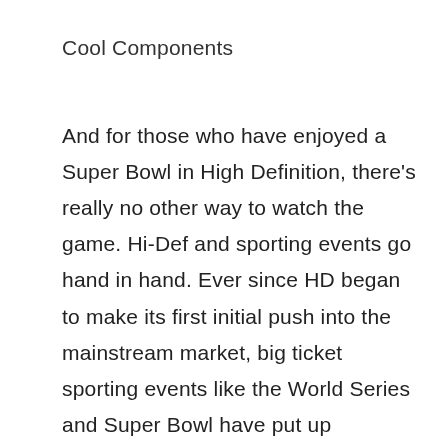Cool Components
And for those who have enjoyed a Super Bowl in High Definition, there’s really no other way to watch the game. Hi-Def and sporting events go hand in hand. Ever since HD began to make its first initial push into the mainstream market, big ticket sporting events like the World Series and Super Bowl have put up Christmas-like numbers for retailers